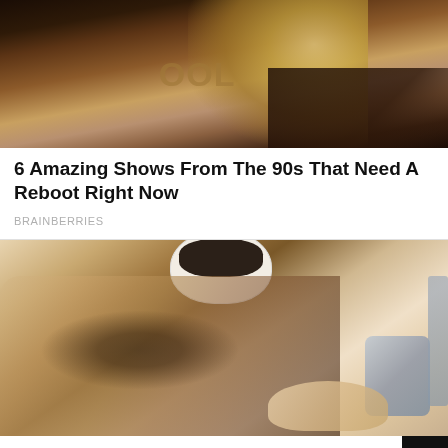[Figure (photo): Photo of a blonde woman holding a broomstick with text 'OOL' visible in background, dark warm-toned image]
6 Amazing Shows From The 90s That Need A Reboot Right Now
BRAINBERRIES
[Figure (photo): Photo of person applying coffee grounds scrub to legs in a bathtub, with a white bowl of coffee scrub visible]
You Just Need 2 Mins To Eliminate Strawberry S... The Organic Way